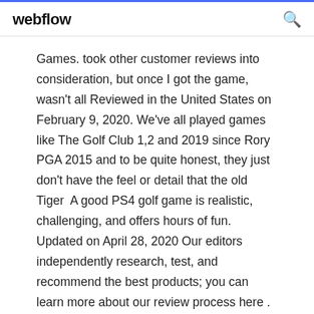webflow
Games. took other customer reviews into consideration, but once I got the game, wasn't all Reviewed in the United States on February 9, 2020. We've all played games like The Golf Club 1,2 and 2019 since Rory PGA 2015 and to be quite honest, they just don't have the feel or detail that the old Tiger  A good PS4 golf game is realistic, challenging, and offers hours of fun. Updated on April 28, 2020 Our editors independently research, test, and recommend the best products; you can learn more about our review process here . We may  Aug 28, 2018 Metacritic Game Reviews, The Golf Club 2019 featuring PGA Tour for Xbox One, The Golf Club